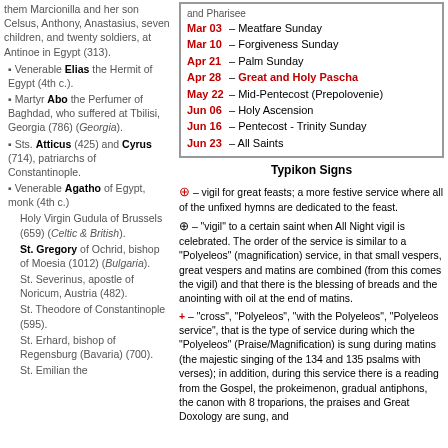them Marcionilla and her son Celsus, Anthony, Anastasius, seven children, and twenty soldiers, at Antinoe in Egypt (313).
Venerable Elias the Hermit of Egypt (4th c.).
Martyr Abo the Perfumer of Baghdad, who suffered at Tbilisi, Georgia (786) (Georgia).
Sts. Atticus (425) and Cyrus (714), patriarchs of Constantinople.
Venerable Agatho of Egypt, monk (4th c.)
Holy Virgin Gudula of Brussels (659) (Celtic & British).
St. Gregory of Ochrid, bishop of Moesia (1012) (Bulgaria).
St. Severinus, apostle of Noricum, Austria (482).
St. Theodore of Constantinople (595).
St. Erhard, bishop of Regensburg (Bavaria) (700).
St. Emilian the…
| Date | Feast |
| --- | --- |
| Mar 03 | Meatfare Sunday |
| Mar 10 | Forgiveness Sunday |
| Apr 21 | Palm Sunday |
| Apr 28 | Great and Holy Pascha |
| May 22 | Mid-Pentecost (Prepolovenie) |
| Jun 06 | Holy Ascension |
| Jun 16 | Pentecost - Trinity Sunday |
| Jun 23 | All Saints |
Typikon Signs
⊕ – vigil for great feasts; a more festive service where all of the unfixed hymns are dedicated to the feast.
⊕ – "vigil" to a certain saint when All Night vigil is celebrated. The order of the service is similar to a "Polyeleos" (magnification) service, in that small vespers, great vespers and matins are combined (from this comes the vigil) and that there is the blessing of breads and the anointing with oil at the end of matins.
+ – "cross", "Polyeleos", "with the Polyeleos", "Polyeleos service", that is the type of service during which the "Polyeleos" (Praise/Magnification) is sung during matins (the majestic singing of the 134 and 135 psalms with verses); in addition, during this service there is a reading from the Gospel, the prokeimenon, gradual antiphons, the canon with 8 troparions, the praises and Great Doxology are sung, and